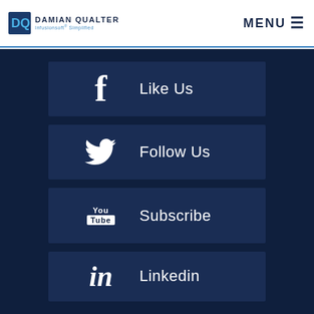DAMIAN QUALTER Infusionsoft Simplified | MENU
Like Us
Follow Us
Subscribe
Linkedin